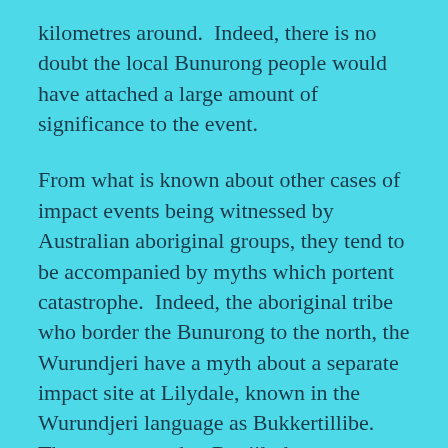kilometres around.  Indeed, there is no doubt the local Bunurong people would have attached a large amount of significance to the event.
From what is known about other cases of impact events being witnessed by Australian aboriginal groups, they tend to be accompanied by myths which portent catastrophe.  Indeed, the aboriginal tribe who border the Bunurong to the north, the Wurundjeri have a myth about a separate impact site at Lilydale, known in the Wurundjeri language as Bukkertillibe.  The story goes that Bunjil, the creator deity was displeased by the people's behaviour and so became angry and punished them by causing a